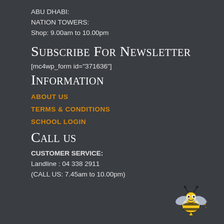ABU DHABI:
NATION TOWERS:
Shop: 9.00am to 10.00pm
Subscribe For Newsletter
[mc4wp_form id="371636"]
Information
ABOUT US
TERMS & CONDITIONS
SCHOOL LOGIN
Call us
CUSTOMER SERVICE:
Landline : 04 338 2911
(CALL US: 7.45am to 10.00pm)
[Figure (illustration): Cartoon bee illustration in bottom right corner]